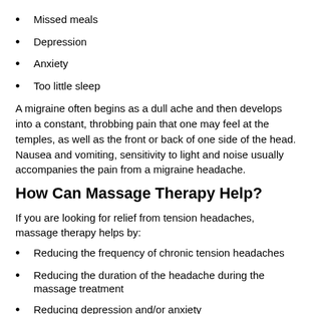Missed meals
Depression
Anxiety
Too little sleep
A migraine often begins as a dull ache and then develops into a constant, throbbing pain that one may feel at the temples, as well as the front or back of one side of the head. Nausea and vomiting, sensitivity to light and noise usually accompanies the pain from a migraine headache.
How Can Massage Therapy Help?
If you are looking for relief from tension headaches, massage therapy helps by:
Reducing the frequency of chronic tension headaches
Reducing the duration of the headache during the massage treatment
Reducing depression and/or anxiety
Decreasing perceived pain